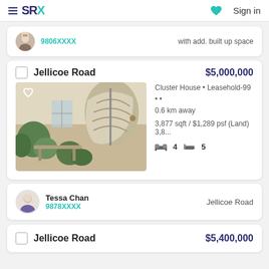SRX | Sign in
9806XXXX  with add. built up space
Jellicoe Road  $5,000,000
[Figure (photo): Cluster house exterior with spiral staircase and plants]
Cluster House • Leasehold-99 • •
0.6 km away
3,877 sqft / $1,289 psf (Land) 3,8...
4  5
Tessa Chan
9878XXXX  Jellicoe Road
Jellicoe Road  $5,400,000